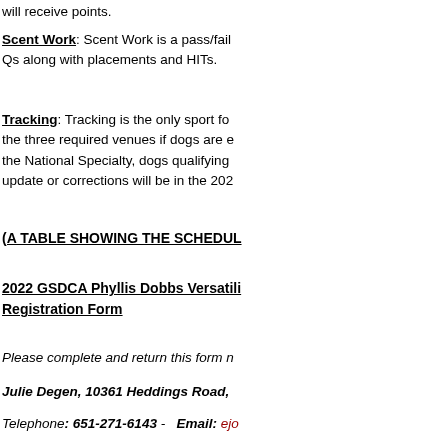will receive points.
Scent Work: Scent Work is a pass/fail sport for Qs along with placements and HITs.
Tracking: Tracking is the only sport for the three required venues if dogs are e... the National Specialty, dogs qualifying... update or corrections will be in the 202...
(A TABLE SHOWING THE SCHEDUL...
2022 GSDCA Phyllis Dobbs Versatili... Registration Form
Please complete and return this form n...
Julie Degen, 10361 Heddings Road,
Telephone: 651-271-6143 -  Email: ejc...